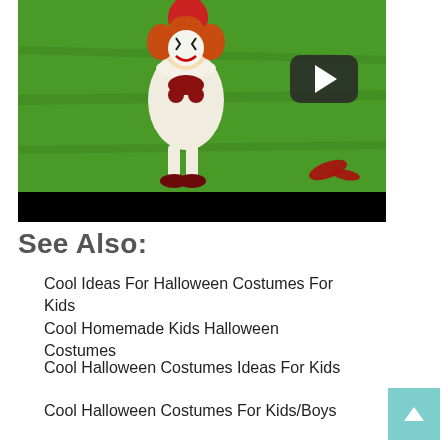[Figure (photo): Child dressed as Pennywise the clown from IT, wearing white costume with red accents, holding a red balloon, standing on grass. Has a YouTube play button overlay in the top right and a black bar at the bottom.]
See Also:
Cool Ideas For Halloween Costumes For Kids
Cool Homemade Kids Halloween Costumes
Cool Halloween Costumes Ideas For Kids
Cool Halloween Costumes For Kids/Boys
Cool Homemade Halloween ...